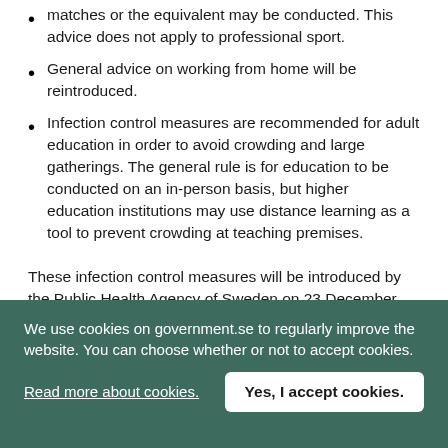matches or the equivalent may be conducted. This advice does not apply to professional sport.
General advice on working from home will be reintroduced.
Infection control measures are recommended for adult education in order to avoid crowding and large gatherings. The general rule is for education to be conducted on an in-person basis, but higher education institutions may use distance learning as a tool to prevent crowding at teaching premises.
These infection control measures will be introduced by the Public Health Agency of Sweden on 23 December 2021. For more information about the Public Health Agency of Sweden's recommendations – see Folkhälsomyndigheten.se.
We use cookies on government.se to regularly improve the website. You can choose whether or not to accept cookies.
Read more about cookies.
Yes, I accept cookies.